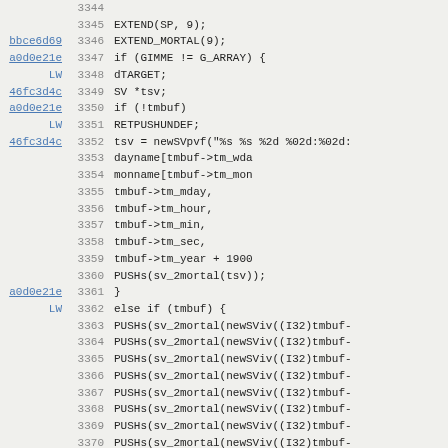[Figure (screenshot): Source code listing showing Perl/C code lines 3344-3376 with line numbers, commit hash hyperlinks, and code content including EXTEND, EXTEND_MORTAL, if/else blocks, dTARGET, SV *tsv, RETPUSHUNDEF, newSVpvf, dayname/monname/tmbuf fields, PUSHs/sv_2mortal/newSViv calls, RETURN and closing brace.]